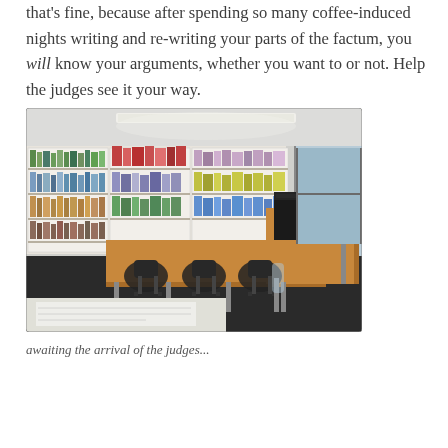that's fine, because after spending so many coffee-induced nights writing and re-writing your parts of the factum, you will know your arguments, whether you want to or not. Help the judges see it your way.
[Figure (photo): A library or moot court preparation room with wooden desks arranged in an L-shape, black office chairs, bookshelves filled with books along the back wall, fluorescent ceiling lights, and a dark printer/box on the corner of the desk. Papers are visible on the desk in the foreground.]
awaiting the arrival of the judges...